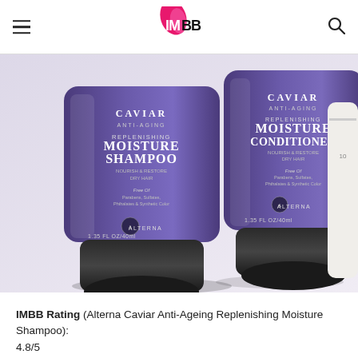IMBB
[Figure (photo): Two purple Alterna Caviar Anti-Aging Replenishing Moisture Shampoo and Conditioner tubes (1.35 FL OZ/40ml each) with black caps, lying on a white surface. A third white product is partially visible on the right.]
IMBB Rating (Alterna Caviar Anti-Ageing Replenishing Moisture Shampoo):
4.8/5